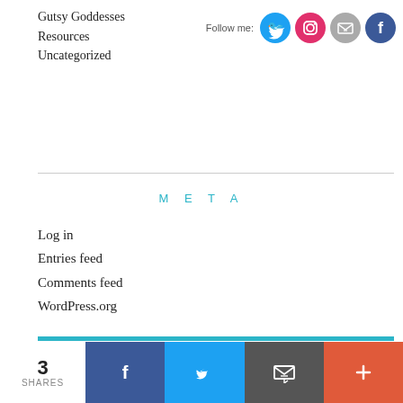Gutsy Goddesses
Resources
Uncategorized
[Figure (infographic): Social media follow icons: Twitter (blue), Instagram (pink/red), Email (gray), Facebook (dark blue) with 'Follow me:' label]
META
Log in
Entries feed
Comments feed
WordPress.org
Subscribe
[Figure (infographic): Social share bar at bottom: 3 SHARES, Facebook button, Twitter button, Email button, Plus button]